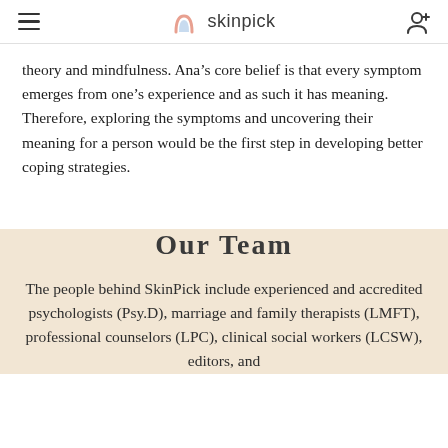skinpick
theory and mindfulness. Ana’s core belief is that every symptom emerges from one’s experience and as such it has meaning. Therefore, exploring the symptoms and uncovering their meaning for a person would be the first step in developing better coping strategies.
Our Team
The people behind SkinPick include experienced and accredited psychologists (Psy.D), marriage and family therapists (LMFT), professional counselors (LPC), clinical social workers (LCSW), editors, and